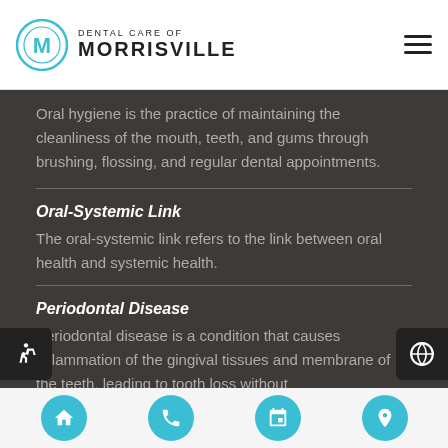DENTAL CARE OF MORRISVILLE
Oral hygiene is the practice of maintaining the cleanliness of the mouth, teeth, and gums through brushing, flossing, and regular dental appointments.
Oral-Systemic Link
The oral-systemic link refers to the link between oral health and systemic health.
Periodontal Disease
Periodontal disease is a condition that causes inflammation of the gingival tissues and membrane of the teeth, leading to tooth loss without…
Navigation bar: Home, Phone, Calendar, Location